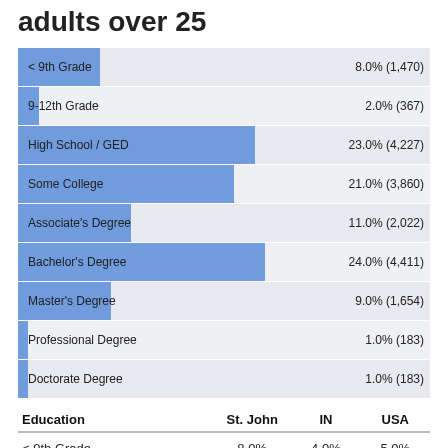adults over 25
[Figure (bar-chart): Education attainment for adults over 25]
| Education | St. John | IN | USA |
| --- | --- | --- | --- |
| < 9th Grade | 8.0% | 4.0% | 5.0% |
| 9-12th Grade | 2.0% | 7.0% | 7.0% |